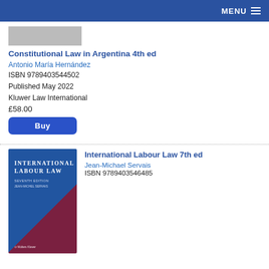MENU
[Figure (other): Gray book cover placeholder thumbnail]
Constitutional Law in Argentina 4th ed
Antonio María Hernández
ISBN 9789403544502
Published May 2022
Kluwer Law International
£58.00
Buy
[Figure (illustration): Book cover for International Labour Law 7th ed — dark blue and dark red/maroon diagonal design with white title text and Wolters Kluwer logo]
International Labour Law 7th ed
Jean-Michael Servais
ISBN 9789403546485